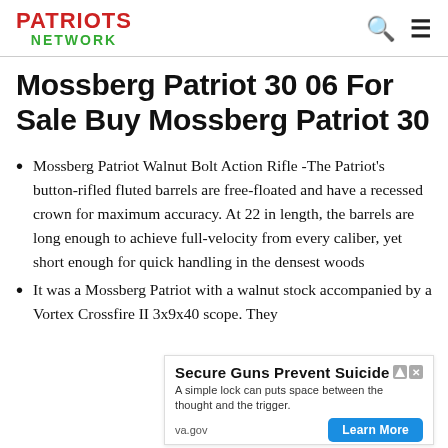PATRIOTS NETWORK
Mossberg Patriot 30 06 For Sale Buy Mossberg Patriot 30
Mossberg Patriot Walnut Bolt Action Rifle -The Patriot's button-rifled fluted barrels are free-floated and have a recessed crown for maximum accuracy. At 22 in length, the barrels are long enough to achieve full-velocity from every caliber, yet short enough for quick handling in the densest woods
It was a Mossberg Patriot with a walnut stock accompanied by a Vortex Crossfire II 3x9x40 scope. They
[Figure (other): Advertisement banner: 'Secure Guns Prevent Suicide' from va.gov with a 'Learn More' button]